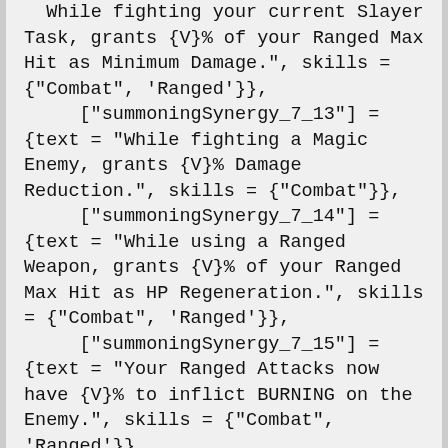While fighting your current Slayer Task, grants {V}% of your Ranged Max Hit as Minimum Damage.", skills = {"Combat", 'Ranged'}},
     ["summoningSynergy_7_13"] = {text = "While fighting a Magic Enemy, grants {V}% Damage Reduction.", skills = {"Combat"}},
     ["summoningSynergy_7_14"] = {text = "While using a Ranged Weapon, grants {V}% of your Ranged Max Hit as HP Regeneration.", skills = {"Combat", 'Ranged'}},
     ["summoningSynergy_7_15"] = {text = "Your Ranged Attacks now have {V}% to inflict BURNING on the Enemy.", skills = {"Combat", 'Ranged'}},
     ["summoningSynergy_8_12"] = {text = "Grants Slayer Coins equal to {V}% of your Magic Damage while on Slayer Task.", skills = {'Slayer'}},
     ["summoningSynergy_8_13"] = {text